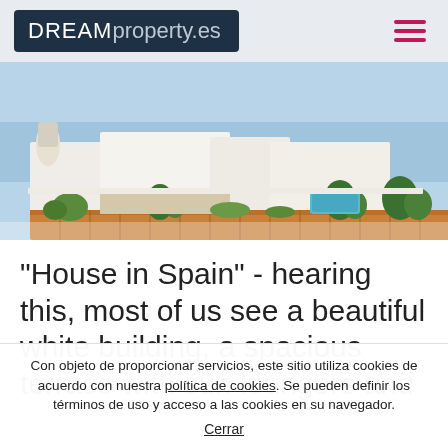DREAMproperty.es
[Figure (photo): Aerial/terrace view of a luxury white villa in Spain with gardens, wooden deck, pool area, and the sea in the background.]
"House in Spain" - hearing this, most of us see a beautiful white building, a spacious terrace with sun loungers and
Con objeto de proporcionar servicios, este sitio utiliza cookies de acuerdo con nuestra política de cookies. Se pueden definir los términos de uso y acceso a las cookies en su navegador. Cerrar